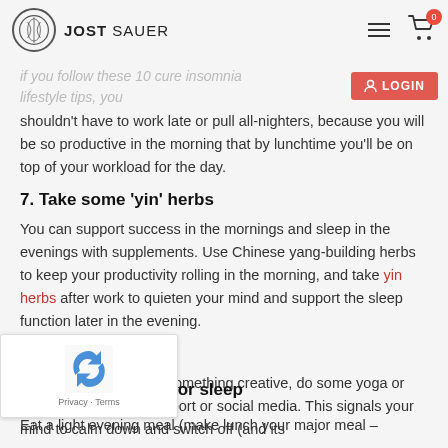JOST SAUER
If you follow these 10 cure insomnia lifestyle tips, you shouldn't have to work late or pull all-nighters, because you will be so productive in the morning that by lunchtime you'll be on top of your workload for the day.
7. Take some 'yin' herbs
You can support success in the mornings and sleep in the evenings with supplements. Use Chinese yang-building herbs to keep your productivity rolling in the morning, and take yin herbs after work to quieten your mind and support the sleep function later in the evening.
8. Chill out
After 6pm chill out. Do something creative, do some yoga or tai-chi, or recreational sport or social media. This signals your mind to calm down and switch off (and its effect).
for sleep
Eat a light evening meal (make lunch your major meal –